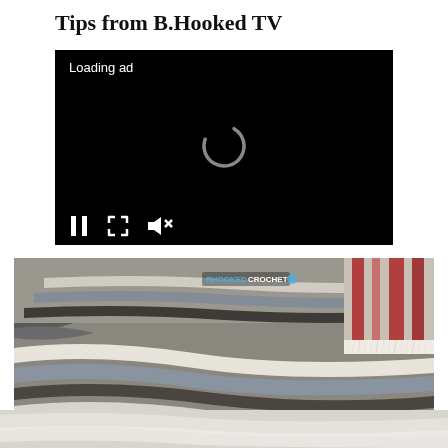Tips from B.Hooked TV
[Figure (screenshot): Video player showing a black loading screen with 'Loading ad' text, a spinning loading indicator in the center, and playback controls (pause, fullscreen, mute) at the bottom.]
[Figure (photo): Photo of striped crochet blankets/afghans in gray, white, and dark brown colors, draped over a surface. A B.Hooked Crochet logo watermark is visible in the upper left of the image. A red and white plaid item is partially visible on the right side.]